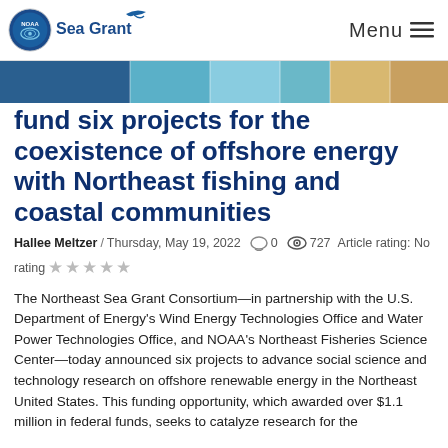NOAA Sea Grant — Menu
[Figure (photo): Horizontal banner photo strip showing ocean and coastal scenes]
Fisheries fund six projects for the coexistence of offshore energy with Northeast fishing and coastal communities
Hallee Meltzer / Thursday, May 19, 2022   0   727   Article rating: No rating ☆☆☆☆☆
The Northeast Sea Grant Consortium—in partnership with the U.S. Department of Energy's Wind Energy Technologies Office and Water Power Technologies Office, and NOAA's Northeast Fisheries Science Center—today announced six projects to advance social science and technology research on offshore renewable energy in the Northeast United States. This funding opportunity, which awarded over $1.1 million in federal funds, seeks to catalyze research for the